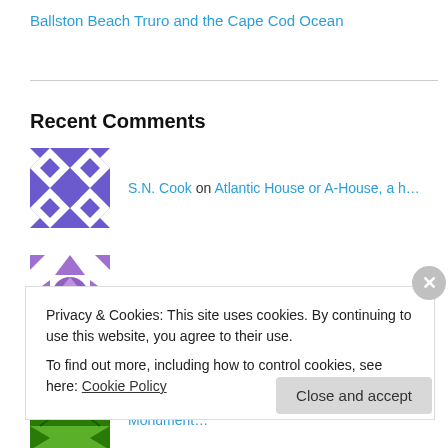Ballston Beach Truro and the Cape Cod Ocean
Recent Comments
S.N. Cook on Atlantic House or A-House, a h…
Tony Lagarto on Atlantic House or A-House, a h…
S.N. Cook on Provincetown Pilgrim Monument…
P Monument on Provincetown Pilgrim Monument…
Privacy & Cookies: This site uses cookies. By continuing to use this website, you agree to their use. To find out more, including how to control cookies, see here: Cookie Policy
Close and accept